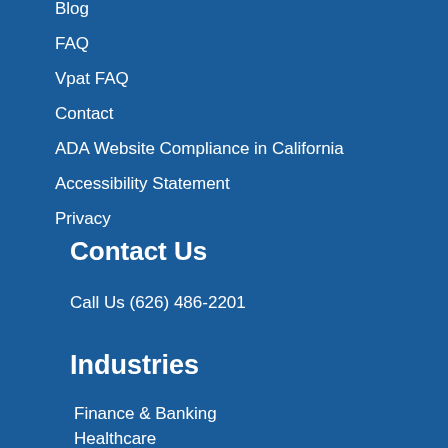Blog
FAQ
Vpat FAQ
Contact
ADA Website Compliance in California
Accessibility Statement
Privacy
Contact Us
Call Us (626) 486-2201
Industries
Finance & Banking
Healthcare
Education